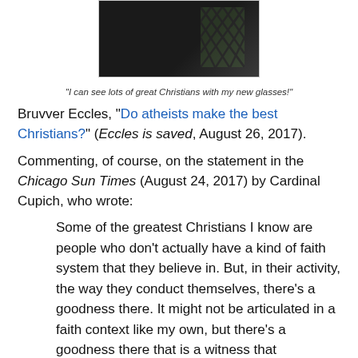[Figure (photo): Dark photograph showing a person in black near a lattice/diamond-pane window]
"I can see lots of great Christians with my new glasses!"
Bruvver Eccles, "Do atheists make the best Christians?" (Eccles is saved, August 26, 2017).
Commenting, of course, on the statement in the Chicago Sun Times (August 24, 2017) by Cardinal Cupich, who wrote:
Some of the greatest Christians I know are people who don't actually have a kind of faith system that they believe in. But, in their activity, the way they conduct themselves, there's a goodness there. It might not be articulated in a faith context like my own, but there's a goodness there that is a witness that encourages me.